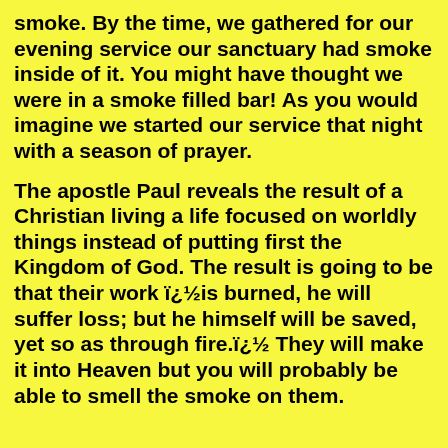smoke. By the time, we gathered for our evening service our sanctuary had smoke inside of it. You might have thought we were in a smoke filled bar! As you would imagine we started our service that night with a season of prayer.
The apostle Paul reveals the result of a Christian living a life focused on worldly things instead of putting first the Kingdom of God. The result is going to be that their work ï¿½is burned, he will suffer loss; but he himself will be saved, yet so as through fire.ï¿½ They will make it into Heaven but you will probably be able to smell the smoke on them.